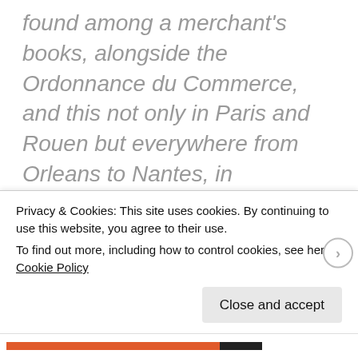found among a merchant's books, alongside the Ordonnance du Commerce, and this not only in Paris and Rouen but everywhere from Orleans to Nantes, in Languedoc, Grenoble and all over the north of the realm... Jansenism, from a scholastic argument, had become one of the greatest currents of French thought.
The bad part of the rondeau is that the Jesuits did indeed seek a New World, which explains much of the quality of
Privacy & Cookies: This site uses cookies. By continuing to use this website, you agree to their use.
To find out more, including how to control cookies, see here: Cookie Policy
Close and accept